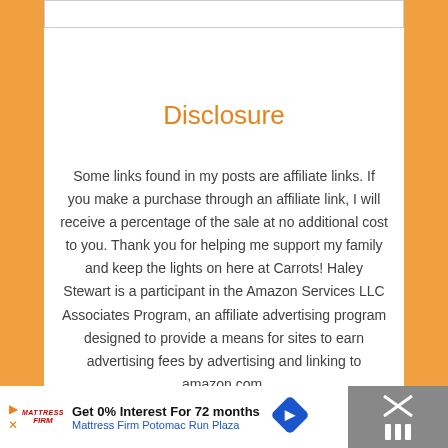Disclosure
Some links found in my posts are affiliate links. If you make a purchase through an affiliate link, I will receive a percentage of the sale at no additional cost to you. Thank you for helping me support my family and keep the lights on here at Carrots! Haley Stewart is a participant in the Amazon Services LLC Associates Program, an affiliate advertising program designed to provide a means for sites to earn advertising fees by advertising and linking to amazon.com.
[Figure (other): Advertisement banner for Mattress Firm Potomac Run Plaza offering 0% Interest for 72 months]